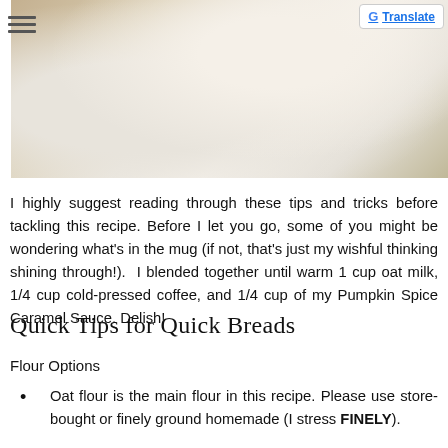[Figure (photo): Photo showing a cozy scene with a white towel, wooden tray, candle, and greenery, suggesting a spa or autumn relaxation setting.]
I highly suggest reading through these tips and tricks before tackling this recipe. Before I let you go, some of you might be wondering what's in the mug (if not, that's just my wishful thinking shining through!). I blended together until warm 1 cup oat milk, 1/4 cup cold-pressed coffee, and 1/4 cup of my Pumpkin Spice Caramel Sauce. Delish!
Quick Tips for Quick Breads
Flour Options
Oat flour is the main flour in this recipe. Please use store-bought or finely ground homemade (I stress FINELY).